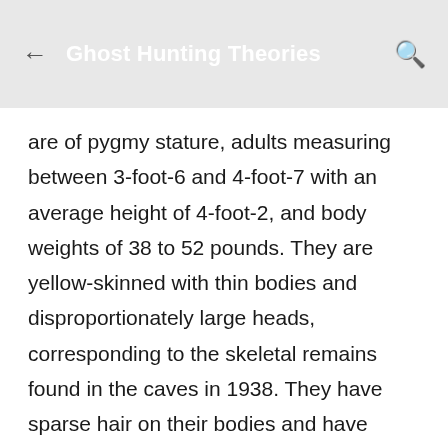Ghost Hunting Theories
are of pygmy stature, adults measuring between 3-foot-6 and 4-foot-7 with an average height of 4-foot-2, and body weights of 38 to 52 pounds. They are yellow-skinned with thin bodies and disproportionately large heads, corresponding to the skeletal remains found in the caves in 1938. They have sparse hair on their bodies and have large eyes that are not Asian in aspect, but have pale blue irises.
Supposedly, there also is an ancient Chinese tale